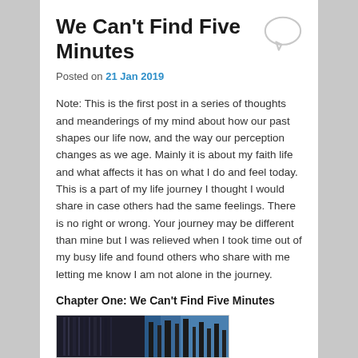We Can't Find Five Minutes
Posted on 21 Jan 2019
Note: This is the first post in a series of thoughts and meanderings of my mind about how our past shapes our life now, and the way our perception changes as we age. Mainly it is about my faith life and what affects it has on what I do and feel today. This is a part of my life journey I thought I would share in case others had the same feelings. There is no right or wrong. Your journey may be different than mine but I was relieved when I took time out of my busy life and found others who share with me letting me know I am not alone in the journey.
Chapter One: We Can't Find Five Minutes
[Figure (photo): Photograph showing what appears to be books or dark vertical objects with a blue sky or light background visible]